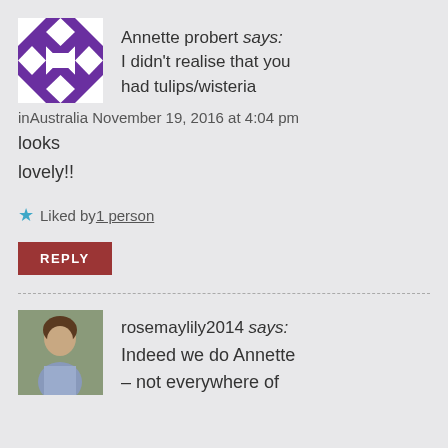[Figure (illustration): Purple and white geometric quilt-pattern avatar for user Annette probert]
Annette probert says:
I didn't realise that you had tulips/wisteria inAustralia November 19, 2016 at 4:04 pm looks lovely!!
Liked by 1 person
REPLY
[Figure (photo): Photo avatar of rosemaylily2014, a woman seated indoors]
rosemaylily2014 says:
Indeed we do Annette – not everywhere of